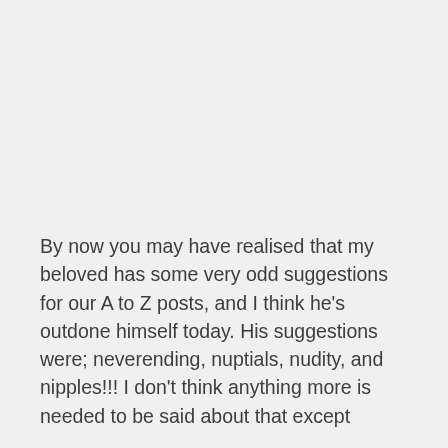By now you may have realised that my beloved has some very odd suggestions for our A to Z posts, and I think he's outdone himself today. His suggestions were; neverending, nuptials, nudity, and nipples!!! I don't think anything more is needed to be said about that except